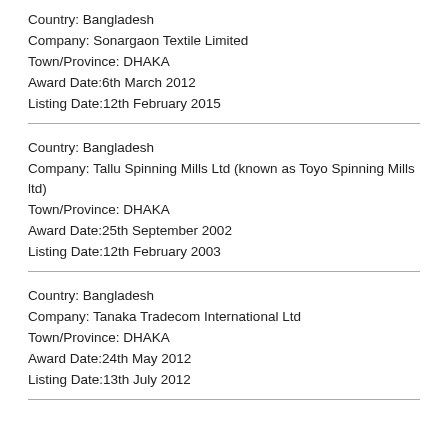Country: Bangladesh
Company: Sonargaon Textile Limited
Town/Province: DHAKA
Award Date:6th March 2012
Listing Date:12th February 2015
Country: Bangladesh
Company: Tallu Spinning Mills Ltd (known as Toyo Spinning Mills ltd)
Town/Province: DHAKA
Award Date:25th September 2002
Listing Date:12th February 2003
Country: Bangladesh
Company: Tanaka Tradecom International Ltd
Town/Province: DHAKA
Award Date:24th May 2012
Listing Date:13th July 2012